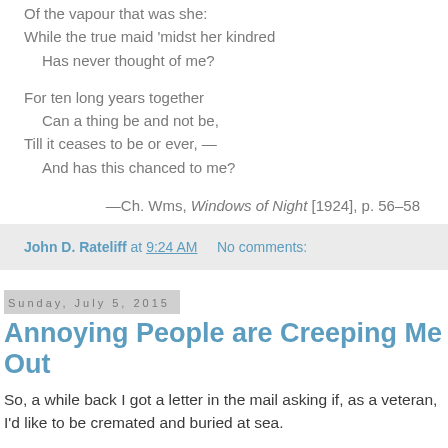Of the vapour that was she;
While the true maid 'midst her kindred
  Has never thought of me?
For ten long years together
  Can a thing be and not be,
Till it ceases to be or ever, —
  And has this chanced to me?
—Ch. Wms, Windows of Night [1924], p. 56–58
John D. Rateliff at 9:24 AM    No comments:
Sunday, July 5, 2015
Annoying People are Creeping Me Out
So, a while back I got a letter in the mail asking if, as a veteran, I'd like to be cremated and buried at sea.
My response to this, and the three follow-up messages I've received (so far) from the same folks is to feel as if I'd